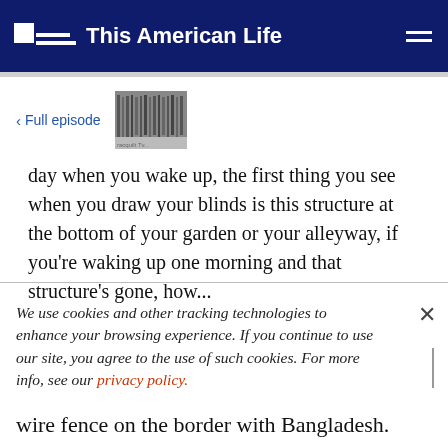This American Life
< Full episode
day when you wake up, the first thing you see when you draw your blinds is this structure at the bottom of your garden or your alleyway, if you're waking up one morning and that structure's gone, how...
We use cookies and other tracking technologies to enhance your browsing experience. If you continue to use our site, you agree to the use of such cookies. For more info, see our privacy policy.
wire fence on the border with Bangladesh.